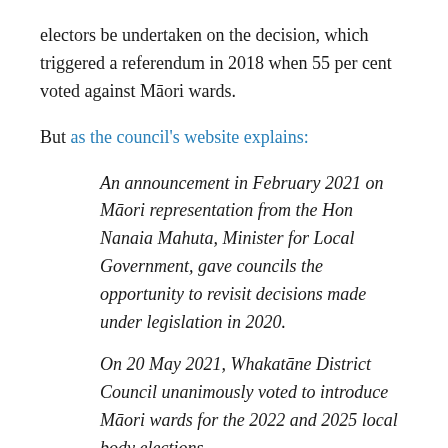electors be undertaken on the decision, which triggered a referendum in 2018 when 55 per cent voted against Māori wards.
But as the council's website explains:
An announcement in February 2021 on Māori representation from the Hon Nanaia Mahuta, Minister for Local Government, gave councils the opportunity to revisit decisions made under legislation in 2020.
On 20 May 2021, Whakatāne District Council unanimously voted to introduce Māori wards for the 2022 and 2025 local body elections.
The ability to govern without coalition partners was the